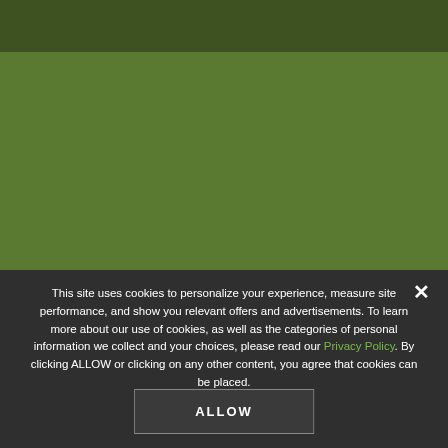Questions?
Talk to a Johnny's Grower
1.877.564.6697
[Figure (screenshot): Cookie consent modal overlay on a green gardening website. The overlay shows a cookie policy notice with a close button (×), text about cookies, a Privacy Policy link, and an ALLOW button.]
This site uses cookies to personalize your experience, measure site performance, and show you relevant offers and advertisements. To learn more about our use of cookies, as well as the categories of personal information we collect and your choices, please read our Privacy Policy. By clicking ALLOW or clicking on any other content, you agree that cookies can be placed.
ALLOW